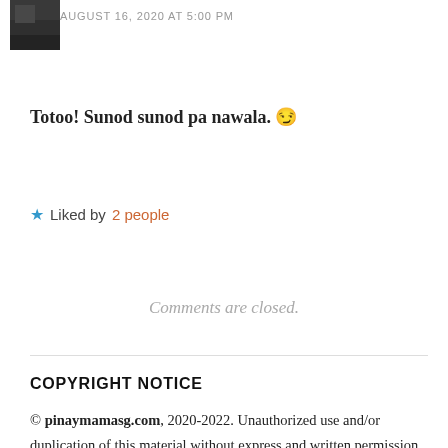[Figure (photo): Small square avatar photo showing a dark/greyscale image of a person or scene]
AUGUST 16, 2020 AT 5:00 PM
Totoo! Sunod sunod pa nawala. 😏
★ Liked by 2 people
Comments are closed.
COPYRIGHT NOTICE
© pinaymamasg.com, 2020-2022. Unauthorized use and/or duplication of this material without express and written permission from this site's author and/or owner is strictly prohibited. Excerpts and links may be used, provided that full and clear credit is given to pinaymamasg.com with